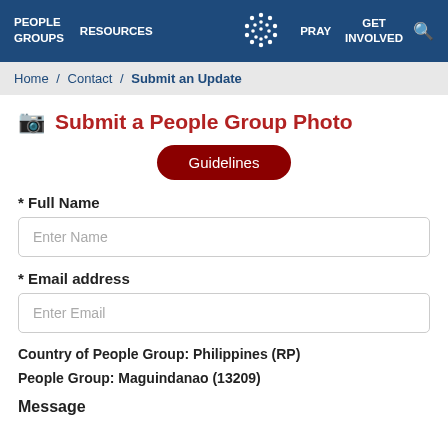PEOPLE GROUPS  RESOURCES  PRAY  GET INVOLVED
Home / Contact / Submit an Update
Submit a People Group Photo
Guidelines
* Full Name
Enter Name
* Email address
Enter Email
Country of People Group:  Philippines (RP)
People Group:  Maguindanao (13209)
Message